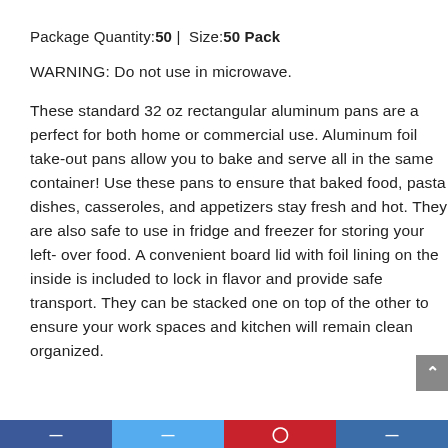Package Quantity: 50 | Size: 50 Pack
WARNING: Do not use in microwave.
These standard 32 oz rectangular aluminum pans are a perfect for both home or commercial use. Aluminum foil take-out pans allow you to bake and serve all in the same container! Use these pans to ensure that baked food, pasta dishes, casseroles, and appetizers stay fresh and hot. They are also safe to use in fridge and freezer for storing your left-over food. A convenient board lid with foil lining on the inside is included to lock in flavor and provide safe transport. They can be stacked one on top of the other to ensure your work spaces and kitchen will remain clean organized.
Social share bar